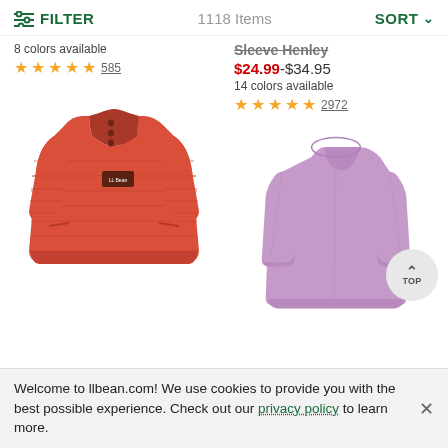FILTER  1118 Items  SORT
Sleeve Henley
$24.99-$34.95
14 colors available
★★★★½ 2972
8 colors available
★★★★½ 585
[Figure (photo): Red/coral ribbed pullover sweater with snap-button collar and small logo patch on chest]
[Figure (photo): Lavender/purple long-sleeve henley shirt displayed flat]
Welcome to llbean.com! We use cookies to provide you with the best possible experience. Check out our privacy policy to learn more.